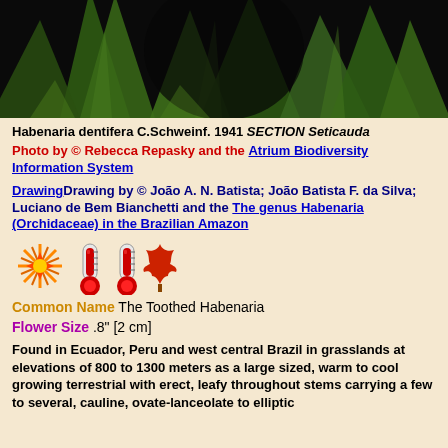[Figure (photo): Close-up photograph of green plant leaves (orchid) against a dark/black background]
Habenaria dentifera C.Schweinf. 1941 SECTION Seticauda
Photo by © Rebecca Repasky and the Atrium Biodiversity Information System
DrawingDrawing by © João A. N. Batista; João Batista F. da Silva; Luciano de Bem Bianchetti and the The genus Habenaria (Orchidaceae) in the Brazilian Amazon
[Figure (infographic): Row of icons: sunburst/star icon, two thermometer icons, and a maple leaf icon indicating climate/growing conditions]
Common Name The Toothed Habenaria
Flower Size .8" [2 cm]
Found in Ecuador, Peru and west central Brazil in grasslands at elevations of 800 to 1300 meters as a large sized, warm to cool growing terrestrial with erect, leafy throughout stems carrying a few to several, cauline, ovate-lanceolate to elliptic